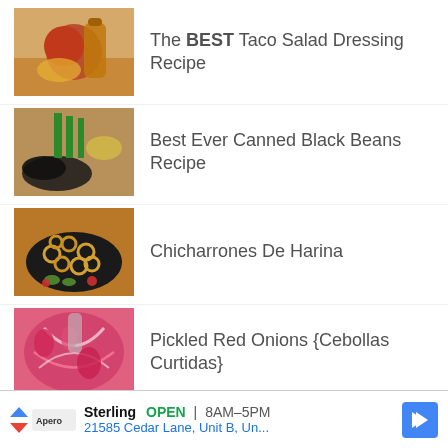The BEST Taco Salad Dressing Recipe
Best Ever Canned Black Beans Recipe
Chicharrones De Harina
Pickled Red Onions {Cebollas Curtidas}
[Figure (photo): Partial view of a 5th recipe thumbnail]
Sterling OPEN 8AM–5PM 21585 Cedar Lane, Unit B, Un...